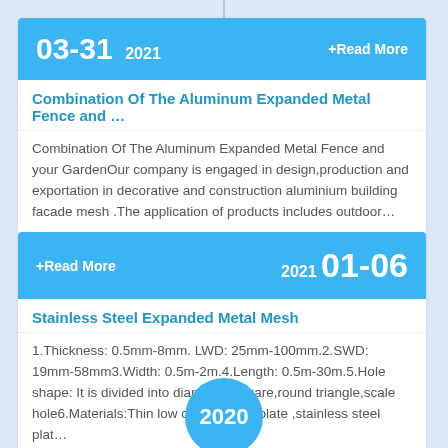03-31 2021 +Read More
Combination Of The Aluminum Expanded Metal Fence and …
Combination Of The Aluminum Expanded Metal Fence and your GardenOur company is engaged in design,production and exportation in decorative and construction aluminium building facade mesh .The application of products includes outdoor…
+Read More 2021 01-06
Stainless Steel Expanded Metal Mesh
1.Thickness: 0.5mm-8mm. LWD: 25mm-100mm.2.SWD: 19mm-58mm3.Width: 0.5m-2m.4.Length: 0.5m-30m.5.Hole shape: It is divided into diamond, square,round triangle,scale hole6.Materials:Thin low carbon steel plate ,stainless steel plat…
2020